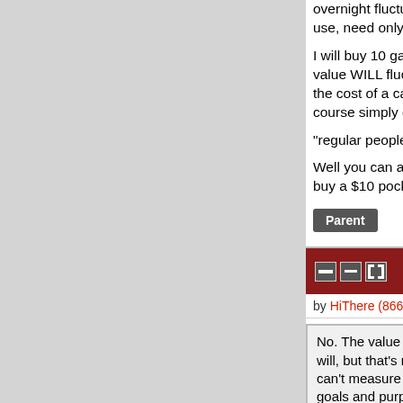overnight fluctuations if the whole trans use, need only take 10 minutes or so?
I will buy 10 gallons of gasoline tonight value WILL fluctuate by tomorrow morn the cost of a can of soda, perhaps consi course simply don't care.
"regular people living paycheck-to-payc
Well you can always play games such th buy a $10 pocket knife from a buddy or
Parent
Re:BTC is more like exchange (Score: 3, I
by HiThere (866) on Wednesday February 2
No. The value of the gasoline will not will, but that's not value. Value is the can't measure it in ANY currency, as goals and purposes.)
--
Javascript is what you use to allow un software you have no idea about on
Parent